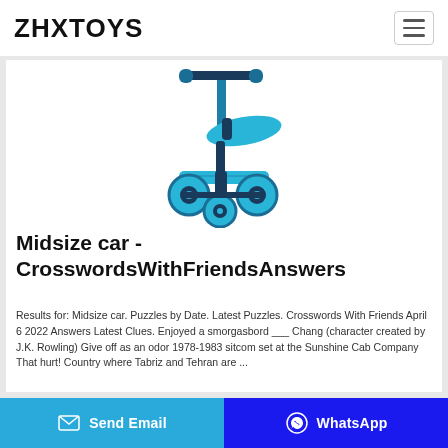ZHXTOYS
[Figure (photo): Blue children's kick scooter with seat and three wheels on white background]
Midsize car - CrosswordsWithFriendsAnswers
Results for: Midsize car. Puzzles by Date. Latest Puzzles. Crosswords With Friends April 6 2022 Answers Latest Clues. Enjoyed a smorgasbord ___ Chang (character created by J.K. Rowling) Give off as an odor 1978-1983 sitcom set at the Sunshine Cab Company That hurt! Country where Tabriz and Tehran are ...
Send Email | WhatsApp